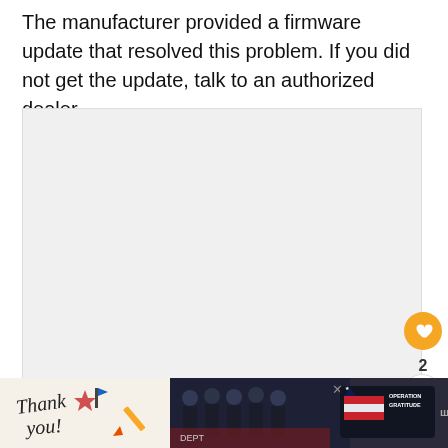The manufacturer provided a firmware update that resolved this problem. If you did not get the update, talk to an authorized dealer.
[Figure (photo): Large light gray image placeholder area representing a photo or image content block]
[Figure (infographic): Bottom advertisement banner showing 'Thank you!' text with Operation Gratitude logo and firefighters photo on dark background]